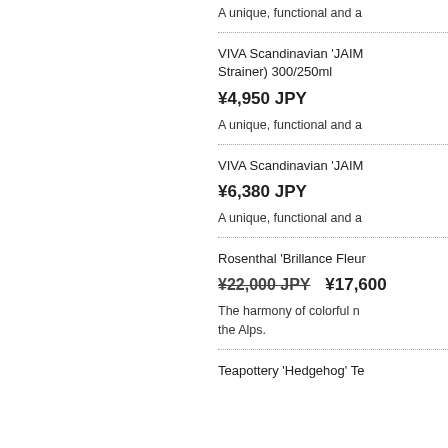A unique, functional and a
VIVA Scandinavian 'JAIMI... Strainer) 300/250ml
¥4,950 JPY
A unique, functional and a
VIVA Scandinavian 'JAIMI...
¥6,380 JPY
A unique, functional and a
Rosenthal 'Brillance Fleur...
¥22,000 JPY   ¥17,600
The harmony of colorful n... the Alps.
Teapottery 'Hedgehog' Te...